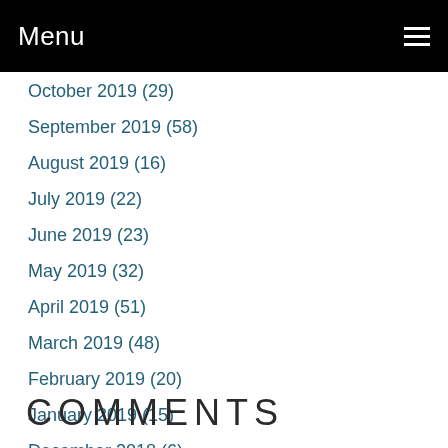Menu
October 2019 (29)
September 2019 (58)
August 2019 (16)
July 2019 (22)
June 2019 (23)
May 2019 (32)
April 2019 (51)
March 2019 (48)
February 2019 (20)
January 2019 (15)
December 2018 (6)
COMMENTS